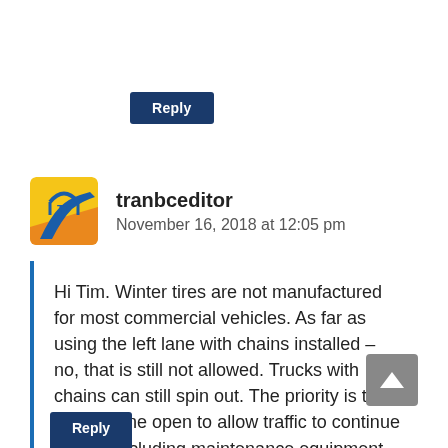Reply
tranbceditor
November 16, 2018 at 12:05 pm
Hi Tim. Winter tires are not manufactured for most commercial vehicles. As far as using the left lane with chains installed – no, that is still not allowed. Trucks with chains can still spin out. The priority is to keep a lane open to allow traffic to continue to flow, including maintenance equipment.